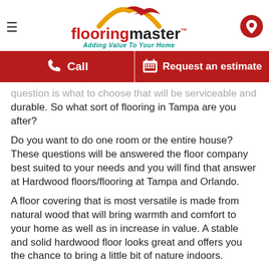flooringmaster™ — Adding Value To Your Home
Call | Request an estimate
question is what to choose that will be serviceable and durable. So what sort of flooring in Tampa are you after?
Do you want to do one room or the entire house? These questions will be answered the floor company best suited to your needs and you will find that answer at Hardwood floors/flooring at Tampa and Orlando.
A floor covering that is most versatile is made from natural wood that will bring warmth and comfort to your home as well as in increase in value. A stable and solid hardwood floor looks great and offers you the chance to bring a little bit of nature indoors.